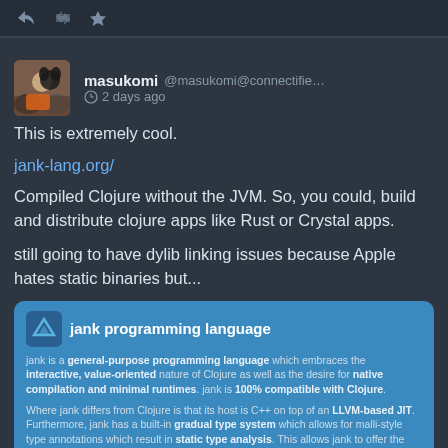[Figure (screenshot): Top bar with reply, retweet, and favorite icons on dark background]
masukomi @masukomi@connectifie... 2 days ago
This is extremely cool.
jank-lang.org/
Compiled Clojure without the JVM. So, you could, build and distribute clojure apps like Rust or Crystal apps.
still going to have dylib linking issues because Apple hates static binaries but...
[Figure (screenshot): Embedded card for jank programming language website with logo, title, and description text about jank being a general-purpose programming language compatible with Clojure, using LLVM-based JIT, gradual type system, REPL-based development, and code-as-data philosophy.]